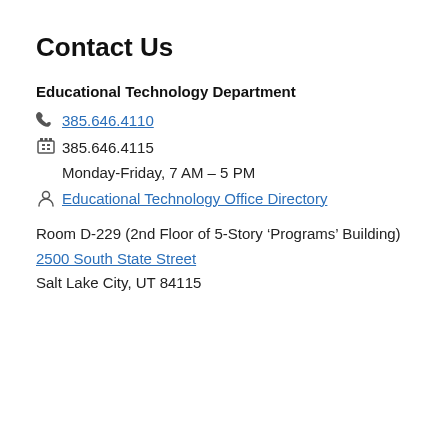Contact Us
Educational Technology Department
385.646.4110 (phone link)
385.646.4115 (fax)
Monday-Friday, 7 AM – 5 PM
Educational Technology Office Directory
Room D-229 (2nd Floor of 5-Story ‘Programs’ Building)
2500 South State Street
Salt Lake City, UT 84115